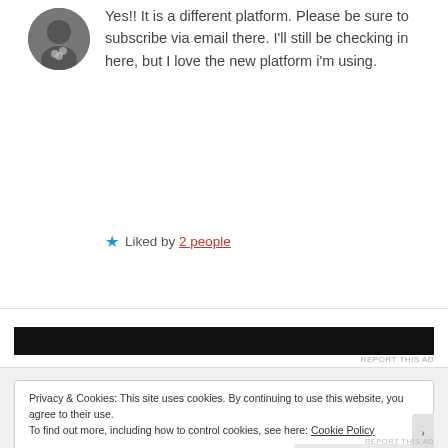Yes!! It is a different platform. Please be sure to subscribe via email there. I'll still be checking in here, but I love the new platform i'm using.
Liked by 2 people
[Figure (other): Black advertisement banner with report this ad label]
Privacy & Cookies: This site uses cookies. By continuing to use this website, you agree to their use. To find out more, including how to control cookies, see here: Cookie Policy
Close and accept